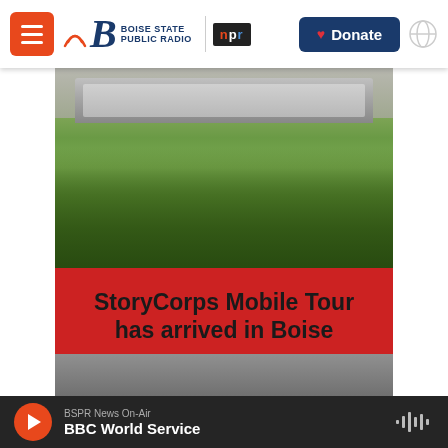Boise State Public Radio | NPR — Donate
[Figure (photo): Outdoor photo of an Airstream-style trailer in a green field with shrubs and grass]
StoryCorps Mobile Tour has arrived in Boise
to record the stories of Idahoans through both in-person and virtual interviews.
[Figure (photo): Partial view of a second photo below the red card area]
BSPR News On-Air — BBC World Service